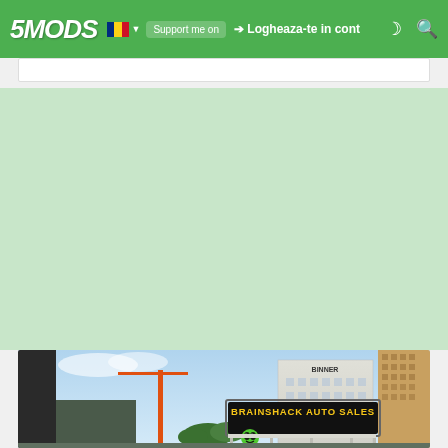5MODS | Logheaza-te in cont
[Figure (screenshot): Screenshot of the 5Mods website showing a green navigation header with the 5MODS logo, Romanian flag dropdown, 'Support me on' button, 'Logheaza-te in cont' login link, dark mode and search icons. Below the header is a large white/green content area and at the bottom a partial screenshot of a GTA-style city scene showing a 'BRAINSHACK AUTO SALES' dealership sign with an alien logo, urban buildings including a tall brown skyscraper, a construction crane, and city infrastructure.]